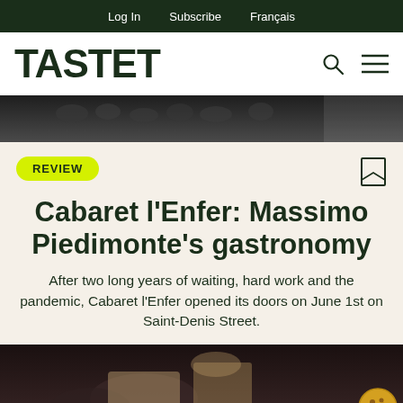Log In  Subscribe  Français
TASTET
[Figure (photo): Dark photo strip showing bar/restaurant interior in grayscale]
REVIEW
Cabaret l'Enfer: Massimo Piedimonte's gastronomy
After two long years of waiting, hard work and the pandemic, Cabaret l'Enfer opened its doors on June 1st on Saint-Denis Street.
[Figure (photo): Person with tattoos handling kraft packaging/boxes, bottom strip photo]